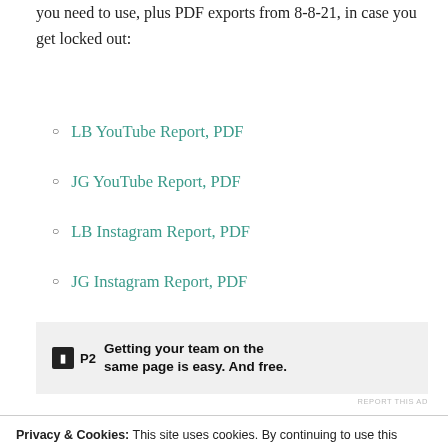you need to use, plus PDF exports from 8-8-21, in case you get locked out:
LB YouTube Report, PDF
JG YouTube Report, PDF
LB Instagram Report, PDF
JG Instagram Report, PDF
[Figure (other): P2 advertisement banner: 'Getting your team on the same page is easy. And free.' with P2 logo icon]
REPORT THIS AD
Privacy & Cookies: This site uses cookies. By continuing to use this website, you agree to their use.
To find out more, including how to control cookies, see here: Cookie Policy
Close and accept
do not. You do NOT want to sign up, it is "M a r i t